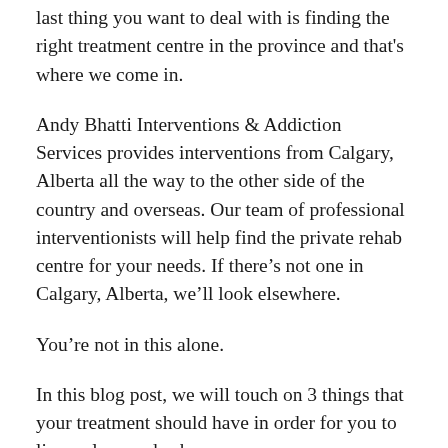last thing you want to deal with is finding the right treatment centre in the province and that's where we come in.
Andy Bhatti Interventions & Addiction Services provides interventions from Calgary, Alberta all the way to the other side of the country and overseas. Our team of professional interventionists will help find the private rehab centre for your needs. If there's not one in Calgary, Alberta, we'll look elsewhere.
You're not in this alone.
In this blog post, we will touch on 3 things that your treatment should have in order for you to live a clean and sober